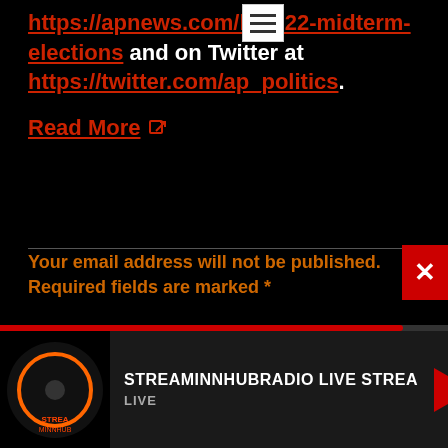https://apnews.com/hub/2022-midterm-elections and on Twitter at https://twitter.com/ap_politics.
Read More
Your email address will not be published. Required fields are marked *
STREAMINNHUBRADIO LIVE STREA LIVE